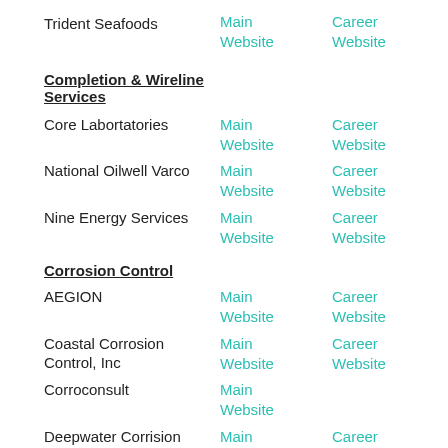Trident Seafoods | Main Website | Career Website
Completion & Wireline Services
Core Labortatories | Main Website | Career Website
National Oilwell Varco | Main Website | Career Website
Nine Energy Services | Main Website | Career Website
Corrosion Control
AEGION | Main Website | Career Website
Coastal Corrosion Control, Inc | Main Website | Career Website
Corroconsult | Main Website
Deepwater Corrision | Main | Career